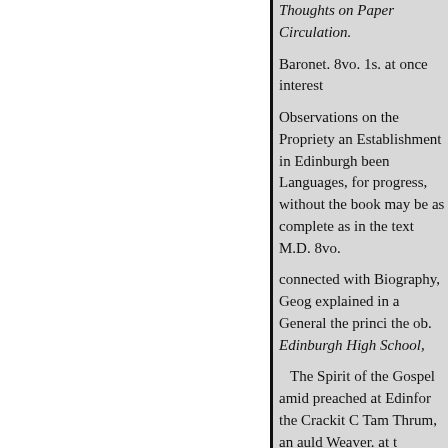Thoughts on Paper Circulation. Baronet. 8vo. 1s. at once interest
Observations on the Propriety and Establishment in Edinburgh been Languages, for progress, without the book may be as complete as in the text M.D. 8vo.
connected with Biography, Geography explained in a General the principles the ob. Edinburgh High School,
The Spirit of the Gospel amidst preached at Edinfor the Crackit Crackit Tam Thrum, an auld Weaver. at the
" I was well, I wish'd to be And here I lie."
Epitaph on a Constitution This pamphlet was published time in too many respects m
and illustrated with short notes, Liston, mi. James Macpherson,